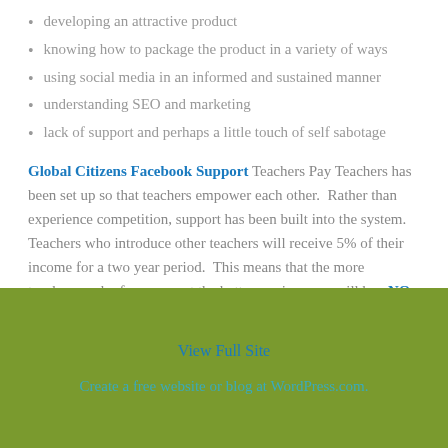developing an attractive product
knowing how to package the product in a variety of ways
using social media in an informed and sustained manner
understanding SEO and marketing
lack of support and perhaps a little touch of self sabotage
Global Citizens Facebook Support Teachers Pay Teachers has been set up so that teachers empower each other.  Rather than experience competition, support has been built into the system.   Teachers who introduce other teachers will receive 5% of their income for a two year period.  This means that the more teachers each of us  support the better our incomes will be.  NO LOSERS!
View Full Site
Create a free website or blog at WordPress.com.